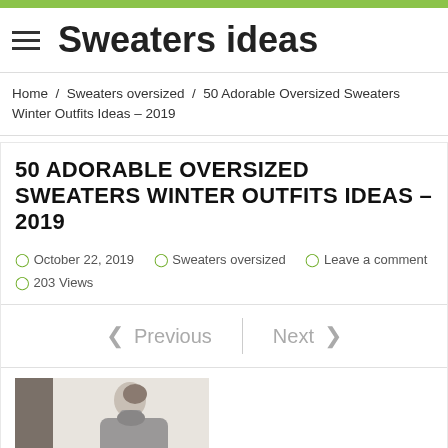Sweaters ideas
Home / Sweaters oversized / 50 Adorable Oversized Sweaters Winter Outfits Ideas – 2019
50 ADORABLE OVERSIZED SWEATERS WINTER OUTFITS IDEAS – 2019
October 22, 2019   Sweaters oversized   Leave a comment   203 Views
< Previous   |   Next >
[Figure (photo): A person wearing an oversized sweater, partial view cropped at bottom of page]